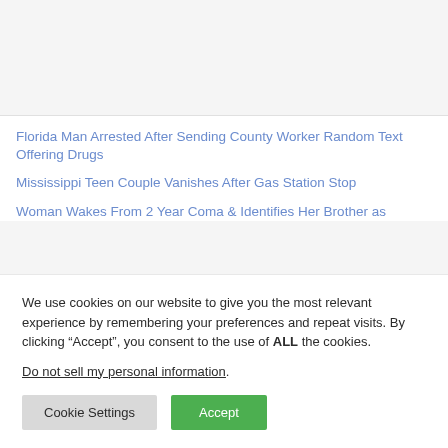Florida Man Arrested After Sending County Worker Random Text Offering Drugs
Mississippi Teen Couple Vanishes After Gas Station Stop
Woman Wakes From 2 Year Coma & Identifies Her Brother as
We use cookies on our website to give you the most relevant experience by remembering your preferences and repeat visits. By clicking “Accept”, you consent to the use of ALL the cookies.
Do not sell my personal information.